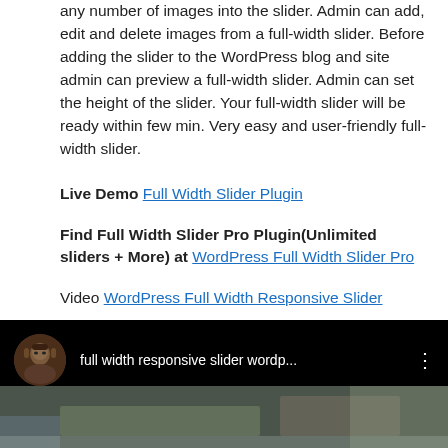any number of images into the slider. Admin can add, edit and delete images from a full-width slider. Before adding the slider to the WordPress blog and site admin can preview a full-width slider. Admin can set the height of the slider. Your full-width slider will be ready within few min. Very easy and user-friendly full-width slider.
Live Demo Full Width Slider Plugin
Find Full Width Slider Pro Plugin(Unlimited sliders + More) at WordPress Full Width Slider Pro
Video WordPress Full Width Responsive Slider
[Figure (screenshot): YouTube video embed showing 'full width responsive slider wordp...' with a user avatar on the left and three-dots menu on the right, on a black background. Below is a thumbnail of a nature/outdoor scene.]